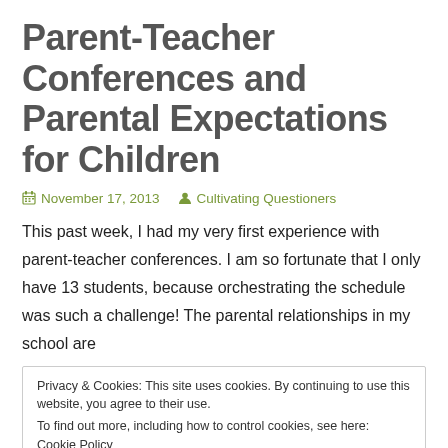Parent-Teacher Conferences and Parental Expectations for Children
November 17, 2013  Cultivating Questioners
This past week, I had my very first experience with parent-teacher conferences. I am so fortunate that I only have 13 students, because orchestrating the schedule was such a challenge! The parental relationships in my school are
Privacy & Cookies: This site uses cookies. By continuing to use this website, you agree to their use.
To find out more, including how to control cookies, see here: Cookie Policy
Close and accept
At my school, our conferences are student-led, meaning that